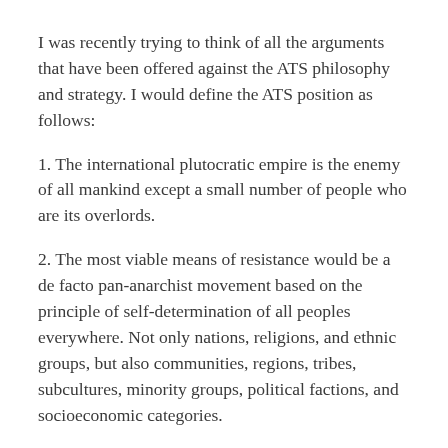I was recently trying to think of all the arguments that have been offered against the ATS philosophy and strategy. I would define the ATS position as follows:
1. The international plutocratic empire is the enemy of all mankind except a small number of people who are its overlords.
2. The most viable means of resistance would be a de facto pan-anarchist movement based on the principle of self-determination of all peoples everywhere. Not only nations, religions, and ethnic groups, but also communities, regions, tribes, subcultures, minority groups, political factions, and socioeconomic categories.